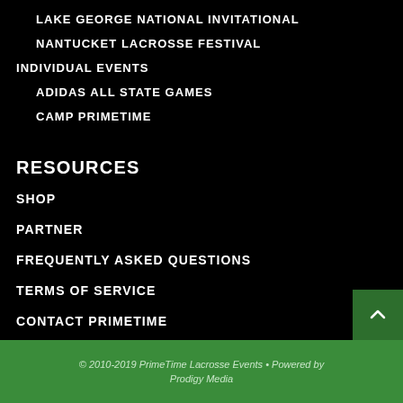LAKE GEORGE NATIONAL INVITATIONAL
NANTUCKET LACROSSE FESTIVAL
INDIVIDUAL EVENTS
ADIDAS ALL STATE GAMES
CAMP PRIMETIME
RESOURCES
SHOP
PARTNER
FREQUENTLY ASKED QUESTIONS
TERMS OF SERVICE
CONTACT PRIMETIME
© 2010-2019 PrimeTime Lacrosse Events • Powered by Prodigy Media